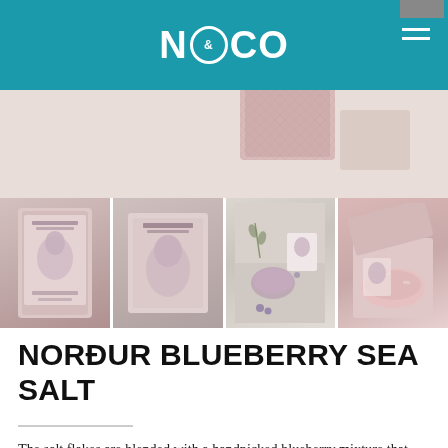N&CO
[Figure (photo): Hero image showing top of a Norður Blueberry Sea Salt product box with pinkish-mauve packaging on a white/light grey background]
[Figure (photo): Four product thumbnail images: 1) Front view of Norður Blueberry Sea Salt box with illustrated female figure, 2) Close-up of box label with illustrated female figure, 3) Flat lay of small label card and bowl of purple salt with blueberries, 4) Open box showing pink salt flakes inside]
NORÐUR BLUEBERRY SEA SALT
The salt flakes are blended with a handpicked blueberry mixture that gives a salty and sweet wild berry taste. We recommend Blueberry Norður Sea Salt to be used as a...